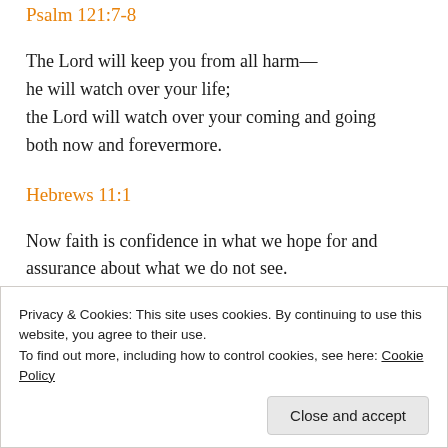Psalm 121:7-8
The Lord will keep you from all harm—
he will watch over your life;
the Lord will watch over your coming and going
both now and forevermore.
Hebrews 11:1
Now faith is confidence in what we hope for and assurance about what we do not see.
Proverbs 3:5-6
Privacy & Cookies: This site uses cookies. By continuing to use this website, you agree to their use.
To find out more, including how to control cookies, see here: Cookie Policy